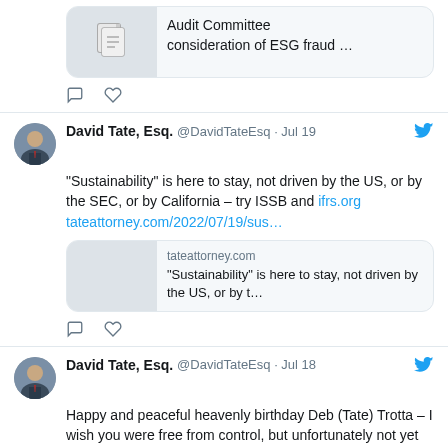[Figure (screenshot): Partial Twitter/social media post showing a link card with document icon, text 'Audit Committee consideration of ESG fraud ...' and action icons (comment, like)]
David Tate, Esq. @DavidTateEsq · Jul 19 — “Sustainability” is here to stay, not driven by the US, or by the SEC, or by California – try ISSB and ifrs.org tateattorney.com/2022/07/19/sus…
tateattorney.com — “Sustainability” is here to stay, not driven by the US, or by t…
David Tate, Esq. @DavidTateEsq · Jul 18 — Happy and peaceful heavenly birthday Deb (Tate) Trotta – I wish you were free from control, but unfortunately not yet as your ashes,